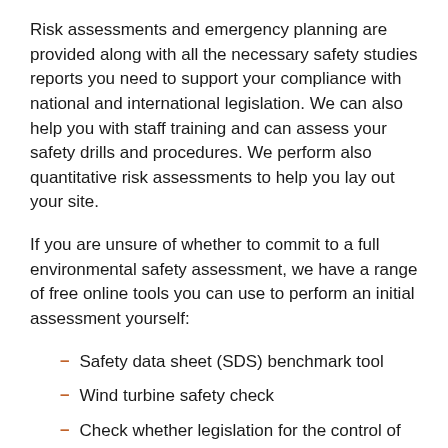Risk assessments and emergency planning are provided along with all the necessary safety studies reports you need to support your compliance with national and international legislation. We can also help you with staff training and can assess your safety drills and procedures. We perform also quantitative risk assessments to help you lay out your site.
If you are unsure of whether to commit to a full environmental safety assessment, we have a range of free online tools you can use to perform an initial assessment yourself:
Safety data sheet (SDS) benchmark tool
Wind turbine safety check
Check whether legislation for the control of major accident hazards and dangerous substances applies to you